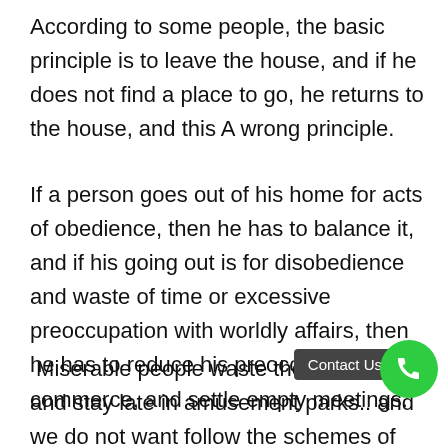According to some people, the basic principle is to leave the house, and if he does not find a place to go, he returns to the house, and this A wrong principle.
If a person goes out of his home for acts of obedience, then he has to balance it, and if his going out is for disobedience and waste of time or excessive preoccupation with worldly affairs, then he has to reduce his preoccupations and commerce, and settle empty meetings.
Miserable people waste their families, and stay late in amusement parks.. and we do not want to follow the schemes of the enemies of God, and